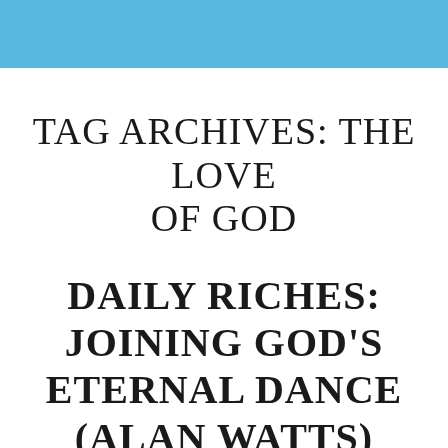TAG ARCHIVES: THE LOVE OF GOD
DAILY RICHES: JOINING GOD'S ETERNAL DANCE (ALAN WATTS)